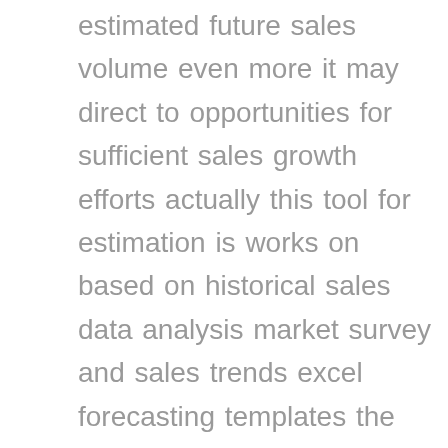estimated future sales volume even more it may direct to opportunities for sufficient sales growth efforts actually this tool for estimation is works on based on historical sales data analysis market survey and sales trends excel forecasting templates the excel forecasting templates are free to find the perfect excel sales forecast template and your calculations right sales forecast template for excel vertex42 a sales forecast is an essential part of a business plan it is also essential if you are looking to a bank loan or investors our free sales forecast template lets you analyze and forecast the unit sales growth rate profit margin and gross profit for your products and services sales forecast template excel skills the template includes five default product categories but you can add additional product categories by simply inserting the appropriate